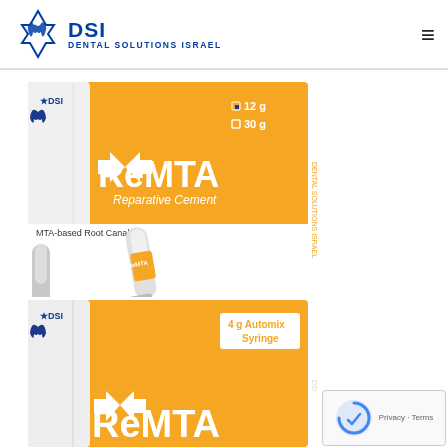[Figure (logo): DSI Dental Solutions Israel logo with blue Star of David and tooth icon]
[Figure (photo): ReMTA Reparative Cement product box (orange) showing 12g and 30g options, with two white tubes labeled ReMTA MTA-based Root Canal filler]
[Figure (photo): ReMTA product box (orange) showing 4g Automix Syringe variant, partially visible at bottom of page]
[Figure (other): reCAPTCHA privacy badge in bottom right corner with Privacy and Terms text]